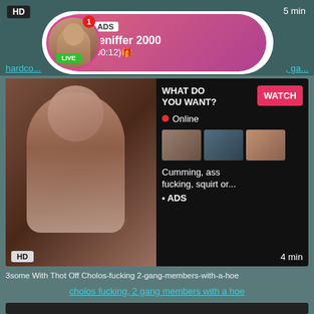[Figure (screenshot): Top ad card with HD badge, 5 min label, profile avatar with LIVE badge, and pink ad bubble for Jeniffer 2000]
ADS
Jeniffer  2000
(00:12)🎁
hardco... , ga...
[Figure (screenshot): Main ad card with woman thumbnail, WHAT DO YOU WANT? text, WATCH button, Online indicator, three mini thumbnails, Cumming ass fucking squirt or... text, ADS label, HD badge, 4 min label]
WHAT DO YOU WANT?
Online
Cumming, ass fucking, squirt or...
• ADS
3some With Thot Off Cholos-fucking 2-gang-members-with-a-hoe
cholos fucking, 2 gang members with a hoe